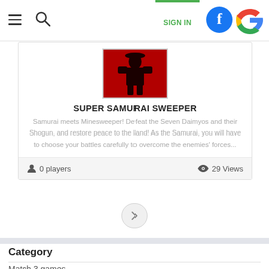SIGN IN
[Figure (screenshot): Game thumbnail for Super Samurai Sweeper — dark silhouette figure on red background]
SUPER SAMURAI SWEEPER
Samurai meets Minesweeper! Defeat the Seven Daimyos and their Shogun, and restore peace to the land! As the Samurai, you will have to choose your battles carefully to overcome the enemies' forces...
0 players   29 Views
Category
Match 3 games